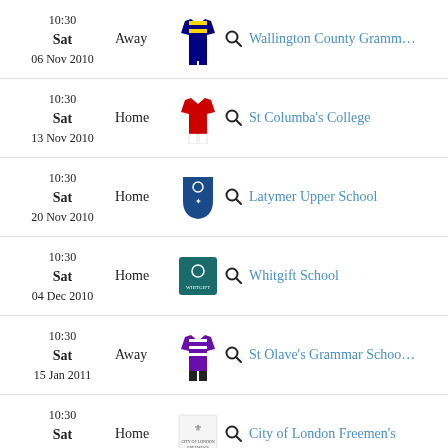10:30 Sat 06 Nov 2010 Away Wallington County Grammar
10:30 Sat 13 Nov 2010 Home St Columba's College
10:30 Sat 20 Nov 2010 Home Latymer Upper School
10:30 Sat 04 Dec 2010 Home Whitgift School
10:30 Sat 15 Jan 2011 Away St Olave's Grammar School
10:30 Sat Home City of London Freemen's